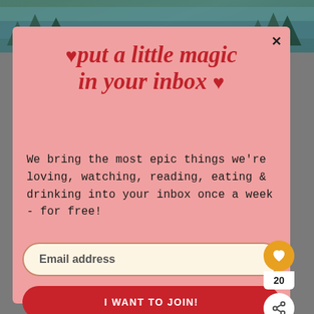[Figure (photo): Background photo of a lake with trees and mountains]
♥put a little magic in your inbox ♥
We bring the most epic things we're loving, watching, reading, eating & drinking into your inbox once a week - for free!
Email address
I WANT TO JOIN!
20
WHAT'S NEXT → Sensorio Paso Robles: 7...